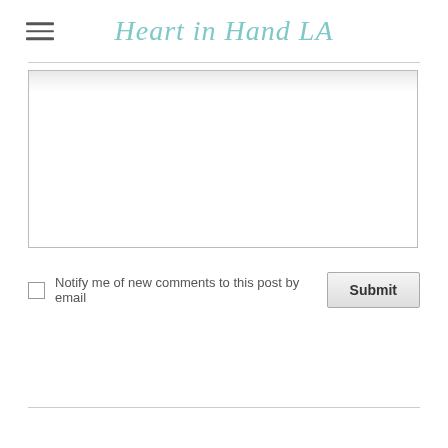Heart in Hand LA
[Figure (screenshot): Comment form with textarea, notify checkbox, and submit button]
Notify me of new comments to this post by email